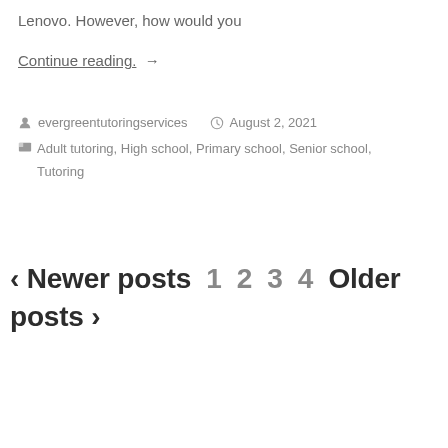Lenovo. However, how would you
Continue reading. →
evergreentutoringservices   August 2, 2021
Adult tutoring, High school, Primary school, Senior school, Tutoring
‹ Newer posts  1  2  3  4  Older posts ›